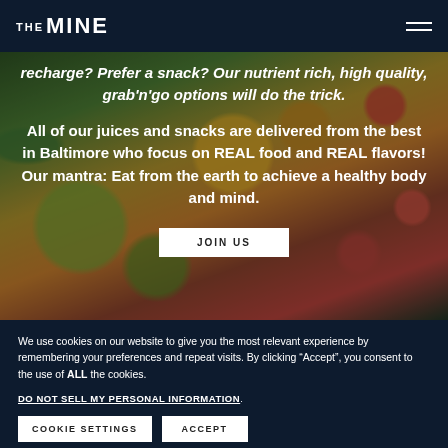THE MINE
recharge? Prefer a snack? Our nutrient rich, high quality, grab'n'go options will do the trick.
All of our juices and snacks are delivered from the best in Baltimore who focus on REAL food and REAL flavors! Our mantra: Eat from the earth to achieve a healthy body and mind.
JOIN US
We use cookies on our website to give you the most relevant experience by remembering your preferences and repeat visits. By clicking “Accept”, you consent to the use of ALL the cookies.
DO NOT SELL MY PERSONAL INFORMATION.
COOKIE SETTINGS
ACCEPT